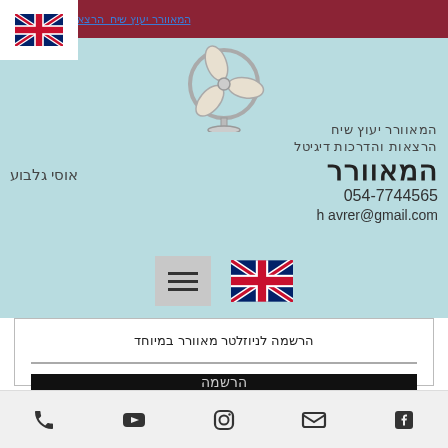[Figure (logo): UK flag top left corner]
המאוורר יעוץ שי... הרצאות והדרכות ד... (nav link in Hebrew/Hebrew site header with dark red background)
[Figure (logo): Fan/ventilator logo illustration - circular fan with stand]
המאוורר יעוץ שיח הרצאות והדרכות ד... המאורר אוסי גלבוע 054-7744565 h avrer@gmail.com
[Figure (logo): UK flag medium size]
הרשמה לניוזלטר מאוורר במיוחד
הרשמה
Phone, YouTube, Instagram, Email, Facebook icons